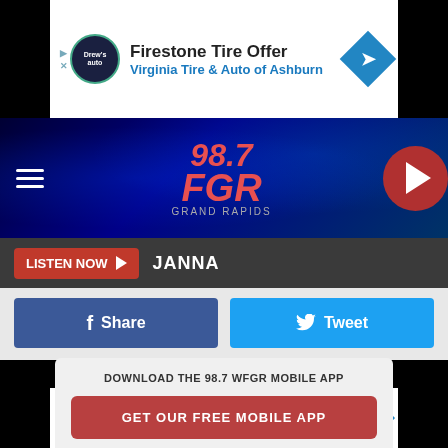[Figure (screenshot): Firestone Tire Offer ad banner at top - Virginia Tire & Auto of Ashburn]
[Figure (screenshot): 98.7 FGR Grand Rapids radio station banner with blue stage lighting background]
LISTEN NOW  JANNA
Share  Tweet
DOWNLOAD THE 98.7 WFGR MOBILE APP
GET OUR FREE MOBILE APP
Also listen on:  amazon alexa
[Figure (screenshot): Buy 4 Tires, Save Up To $110 - Virginia Tire & Auto of Ashburn ad banner at bottom]